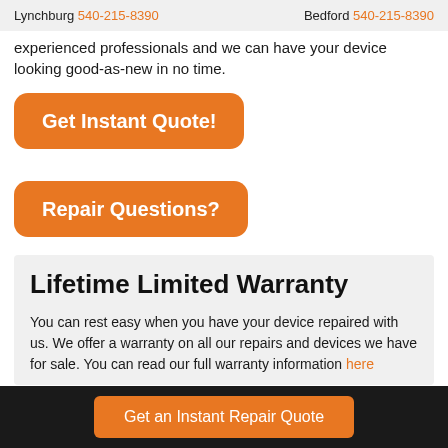Lynchburg 540-215-8390   Bedford 540-215-8390
experienced professionals and we can have your device looking good-as-new in no time.
Get Instant Quote!
Repair Questions?
Lifetime Limited Warranty
You can rest easy when you have your device repaired with us. We offer a warranty on all our repairs and devices we have for sale. You can read our full warranty information here
Get an Instant Repair Quote